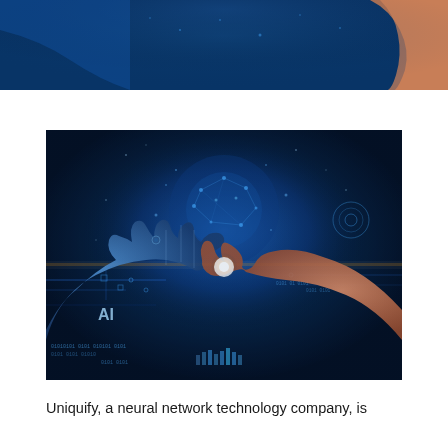[Figure (photo): Partial view of AI-themed photograph showing a robotic hand and human hand with digital blue background and circuit patterns, cropped at top of page]
[Figure (photo): AI-themed photograph showing a robotic hand (left, blue mechanical/circuit design) and a human hand (right) touching fingertips with a glowing point of light at the contact, set against a dark blue background with digital circuit patterns, network nodes, binary code text including 'AI' label, and glowing particle effects]
Uniquify, a neural network technology company, is